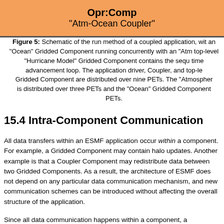[Figure (schematic): Partial view of a schematic diagram showing an orange/salmon colored box with text 'Opr:Comp' and '"Atm-Ocean Coupler"' representing a component in a coupled application diagram.]
Figure 5: Schematic of the run method of a coupled application, with an "Ocean" Gridded Component running concurrently with an "Atm" top-level "Hurricane Model" Gridded Component contains the sequence time advancement loop. The application driver, Coupler, and top-level Gridded Component are distributed over nine PETs. The "Atmosphere" is distributed over three PETs and the "Ocean" Gridded Component PETs.
15.4 Intra-Component Communication
All data transfers within an ESMF application occur within a component. For example, a Gridded Component may contain halo updates. Another example is that a Coupler Component may redistribute data between two Gridded Components. As a result, the architecture of ESMF does not depend on any particular data communication mechanism, and new communication schemes can be introduced without affecting the overall structure of the application.
Since all data communication happens within a component, a